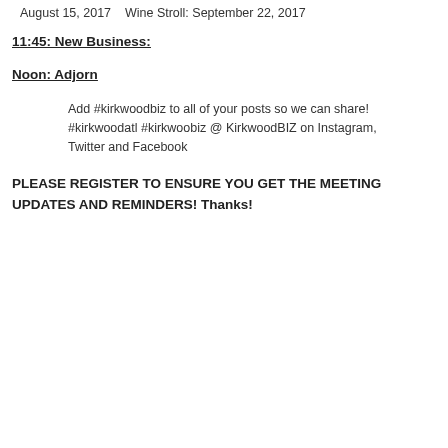August 15, 2017    Wine Stroll: September 22, 2017
11:45: New Business:
Noon: Adjorn
Add #kirkwoodbiz to all of your posts so we can share! #kirkwoodatl #kirkwoobiz @ KirkwoodBIZ on Instagram, Twitter and Facebook
PLEASE REGISTER TO ENSURE YOU GET THE MEETING UPDATES AND REMINDERS! Thanks!